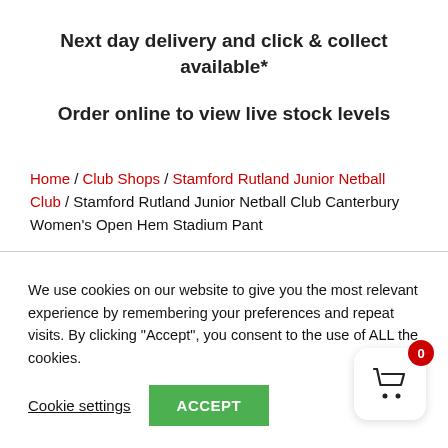Next day delivery and click & collect available*
Order online to view live stock levels
Home / Club Shops / Stamford Rutland Junior Netball Club / Stamford Rutland Junior Netball Club Canterbury Women's Open Hem Stadium Pant
We use cookies on our website to give you the most relevant experience by remembering your preferences and repeat visits. By clicking “Accept”, you consent to the use of ALL the cookies.
Cookie settings   ACCEPT